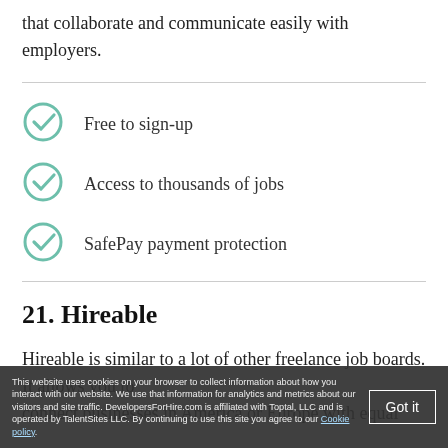that collaborate and communicate easily with employers.
Free to sign-up
Access to thousands of jobs
SafePay payment protection
21. Hireable
Hireable is similar to a lot of other freelance job boards. It allows you to connect businesses in America or Europe with equal
This website uses cookies on your browser to collect information about how you interact with our website. We use that information for analytics and metrics about our visitors and site traffic. DevelopersForHire.com is affiliated with Toptal, LLC and is operated by TalentSites LLC. By continuing to use this site you agree to our Cookie policy.